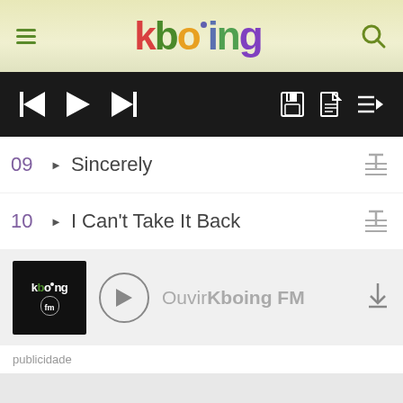kboing - header navigation bar with logo and search
[Figure (screenshot): Kboing music player UI showing media controls (previous, play, next) and icons for save, document, playlist on black bar]
09 ▶ Sincerely
10 ▶ I Can't Take It Back
[Figure (screenshot): Kboing FM radio player section with logo, play button, label OuvirKboing FM and download icon]
publicidade